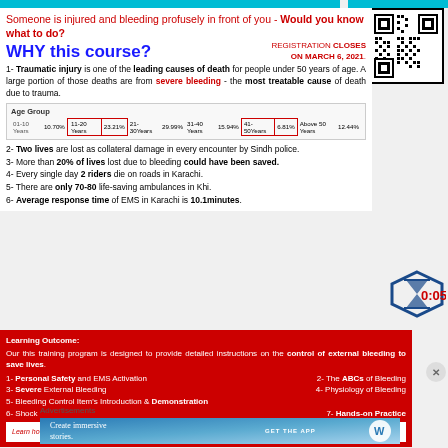Someone is injured and bleeding profusely in front of you - Would you know what to do?
WHY this course?
REGISTRATION CLOSES ON MARCH 6, 2021.
1- Traumatic injury is one of the leading causes of death for people under 50 years of age. A large portion of those deaths are from severe bleeding - the most treatable cause of death due to trauma.
| Age Group | 01-10 Years | 11-20 Years | 21-30Years | 31-40 Years | 41-50Years | Above 50 Years |
| --- | --- | --- | --- | --- | --- | --- |
|  | 10.70% | 23.21% | 29.99% | 15.94% | 6.81% | 12.44% |
2- Two lives are lost as collateral damage in every encounter by Sindh police.
3- More than 20% of lives lost due to bleeding could have been saved.
4- Every single day 2 riders die on roads in Karachi.
5- There are only 70-80 life-saving ambulances in Khi.
6- Average response time of EMS in Karachi is 10.1minutes.
Learning Outcome: Our this training program is designed to provide detailed instructions on the control of external bleeding to save lives. 1- Personal Safety and EMS Activation  2- The ABCs of Bleeding  3- Severe External Bleeding  4- Physiology of Bleeding  5- Bleeding Control Item's Introduction & Demonstration  6- Shock  7- Hands-on Practice
Advertisements
Create immersive stories. GET THE APP